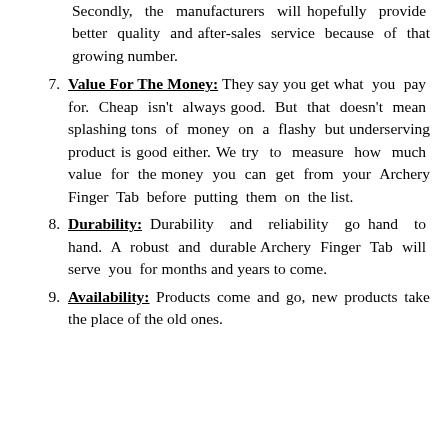Secondly, the manufacturers will hopefully provide better quality and after-sales service because of that growing number.
7. Value For The Money: They say you get what you pay for. Cheap isn't always good. But that doesn't mean splashing tons of money on a flashy but underserving product is good either. We try to measure how much value for the money you can get from your Archery Finger Tab before putting them on the list.
8. Durability: Durability and reliability go hand to hand. A robust and durable Archery Finger Tab will serve you for months and years to come.
9. Availability: Products come and go, new products take the place of the old ones.